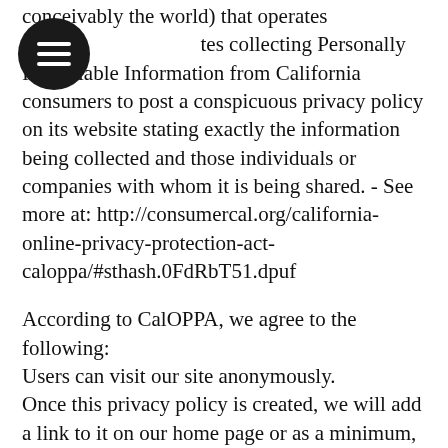conceivably the world) that operates sites collecting Personally Identifiable Information from California consumers to post a conspicuous privacy policy on its website stating exactly the information being collected and those individuals or companies with whom it is being shared. - See more at: http://consumercal.org/california-online-privacy-protection-act-caloppa/#sthash.0FdRbT51.dpuf
According to CalOPPA, we agree to the following:
Users can visit our site anonymously.
Once this privacy policy is created, we will add a link to it on our home page or as a minimum, on the first significant page after entering our website.
Our Privacy Policy link includes the word 'Privacy' and can easily be found on the page specified above.